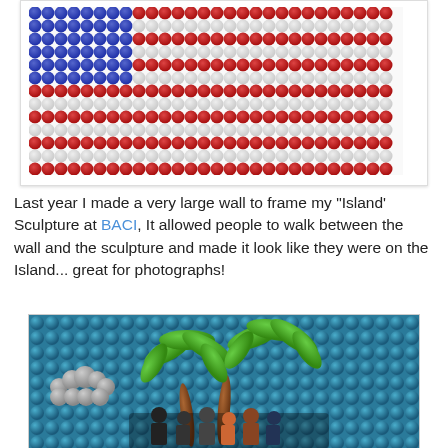[Figure (photo): Balloon art American flag made of red, white, and blue circular balloon discs arranged in the pattern of the US flag with blue canton and red/white stripes.]
Last year I made a very large wall to frame my "Island' Sculpture at BACI, It allowed people to walk between the wall and the sculpture and made it look like they were on the Island... great for photographs!
[Figure (photo): Balloon wall depicting a tropical island scene with palm trees made of green balloons, brown trunks, blue ocean background, white cloud shapes, and a group of people posing in front of the wall at ground level.]